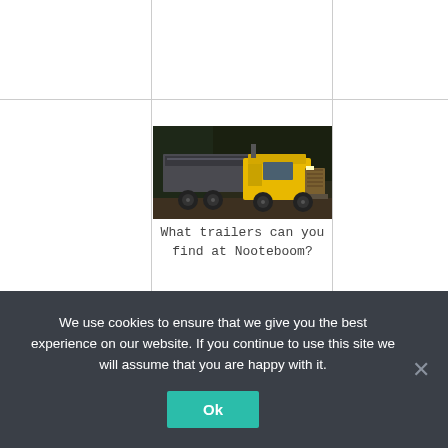[Figure (photo): A yellow dump truck photographed from the front-left angle, parked on a dirt surface with dark trees in the background.]
What trailers can you find at Nooteboom?
We use cookies to ensure that we give you the best experience on our website. If you continue to use this site we will assume that you are happy with it.